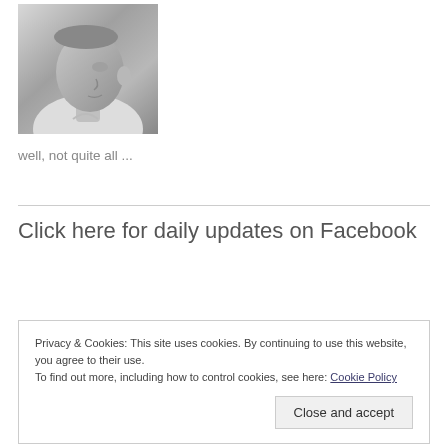[Figure (photo): Black and white photo of an older man in profile/three-quarter view, wearing a white shirt, looking to the left.]
well, not quite all ...
Click here for daily updates on Facebook
Privacy & Cookies: This site uses cookies. By continuing to use this website, you agree to their use.
To find out more, including how to control cookies, see here: Cookie Policy